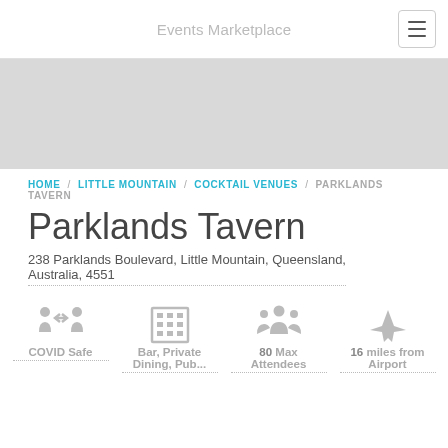Events Marketplace
[Figure (map): Gray map placeholder area]
HOME / LITTLE MOUNTAIN / COCKTAIL VENUES / PARKLANDS TAVERN
Parklands Tavern
238 Parklands Boulevard, Little Mountain, Queensland, Australia, 4551
COVID Safe
Bar, Private Dining, Pub...
80 Max Attendees
16 miles from Airport